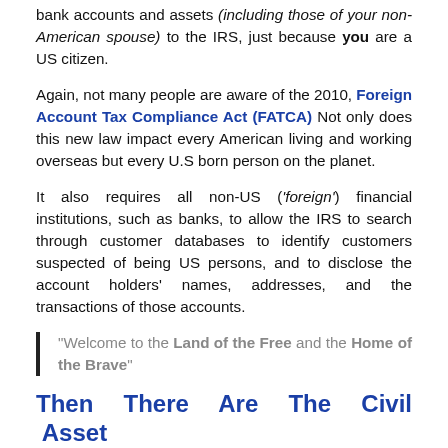bank accounts and assets (including those of your non-American spouse) to the IRS, just because you are a US citizen.
Again, not many people are aware of the 2010, Foreign Account Tax Compliance Act (FATCA) Not only does this new law impact every American living and working overseas but every U.S born person on the planet.
It also requires all non-US ('foreign') financial institutions, such as banks, to allow the IRS to search through customer databases to identify customers suspected of being US persons, and to disclose the account holders' names, addresses, and the transactions of those accounts.
“Welcome to the Land of the Free and the Home of the Brave”
Then There Are The Civil Asset